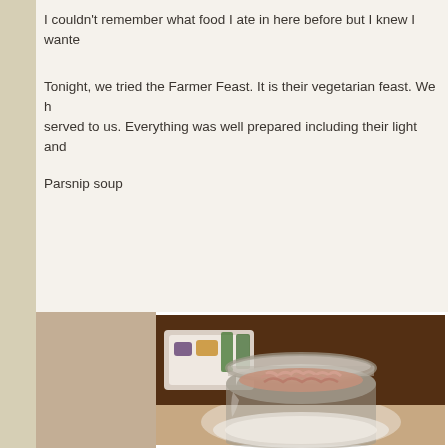I couldn't remember what food I ate in here before but I knew I wanted to come back.
Tonight, we tried the Farmer Feast.  It is their vegetarian feast.  We had various dishes served to us.  Everything was well prepared including their light and ...
Parsnip soup
[Figure (photo): A glass mason jar containing parsnip soup with toppings, placed on a white plate. Background shows a wooden table with a white plate of vegetables and garnishes.]